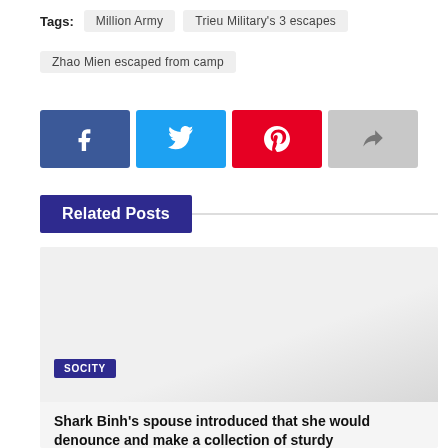Tags: Million Army  Trieu Military's 3 escapes  Zhao Mien escaped from camp
[Figure (infographic): Row of four social share buttons: Facebook (dark blue with f icon), Twitter (light blue with bird icon), Pinterest (red with P icon), Share (grey with arrow icon)]
Related Posts
[Figure (photo): Greyscale placeholder image for a related post card, with a 'SOCITY' category label in dark blue]
Shark Binh's spouse introduced that she would denounce and make a collection of sturdy